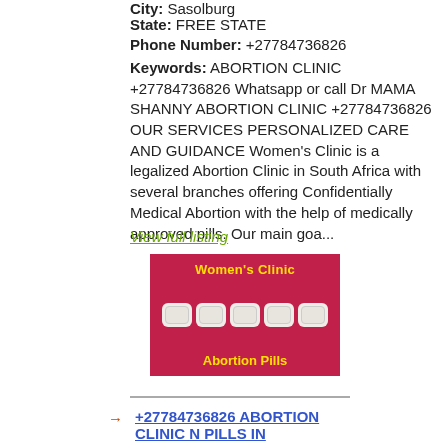City: Sasolburg
State: FREE STATE
Phone Number: +27784736826
Keywords: ABORTION CLINIC +27784736826 Whatsapp or call Dr MAMA SHANNY ABORTION CLINIC +27784736826 OUR SERVICES PERSONALIZED CARE AND GUIDANCE Women's Clinic is a legalized Abortion Clinic in South Africa with several branches offering Confidentially Medical Abortion with the help of medically approved pills. Our main goa...
View full listing
[Figure (photo): Advertisement image with pink/red background showing white hexagonal abortion pills with yellow text 'Women's Clinic' at top and 'Abortion Pills' at bottom]
+27784736826 ABORTION CLINIC N PILLS IN